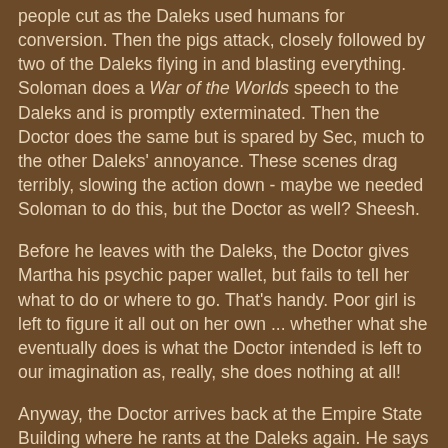people cut as the Daleks used humans for conversion. Then the pigs attack, closely followed by two of the Daleks flying in and blasting everything. Soloman does a War of the Worlds speech to the Daleks and is promptly exterminated. Then the Doctor does the same but is spared by Sec, much to the other Daleks' annoyance. These scenes drag terribly, slowing the action down - maybe we needed Soloman to do this, but the Doctor as well? Sheesh.
Before he leaves with the Daleks, the Doctor gives Martha his psychic paper wallet, but fails to tell her what to do or where to go. That's handy. Poor girl is left to figure it all out on her own ... whether what she eventually does is what the Doctor intended is left to our imagination as, really, she does nothing at all!
Anyway, the Doctor arrives back at the Empire State Building where he rants at the Daleks again. He says the green globby Rutan thing he found was a Dalek embryo ... what? Where did that come from then? There are only four Daleks in the Cult of Skaro and all are accounted for, so where did an extra embryo come from? And the Daleks have 1000 or so humans, brains wiped clean, suspended on pallets in a